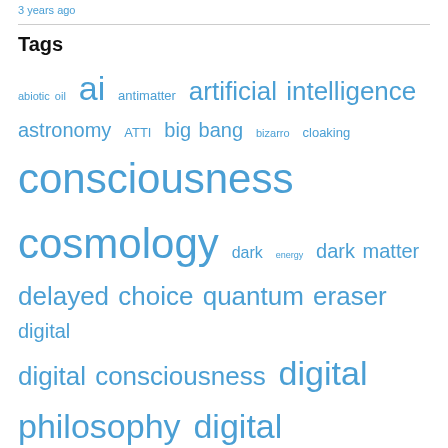3 years ago
Tags
abiotic oil ai antimatter artificial intelligence astronomy ATTI big bang bizarro cloaking consciousness cosmology dark energy dark matter delayed choice quantum eraser digital digital consciousness digital philosophy digital physics digital reality double slit entanglement et evolution extraterrestrial life finite state machine free will ftl gaming gut intelligent design life many worlds many worlds interpretation materialism matrix matter mmorpg multi-dimensions multiverse mwi nanobots nanotech neutrinos non-locality objective reality observer effect parallel universes parallel worlds paranormal philosophy